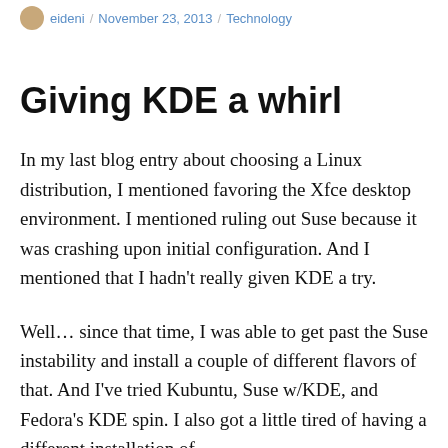eideni / November 23, 2013 / Technology
Giving KDE a whirl
In my last blog entry about choosing a Linux distribution, I mentioned favoring the Xfce desktop environment. I mentioned ruling out Suse because it was crashing upon initial configuration. And I mentioned that I hadn't really given KDE a try.
Well… since that time, I was able to get past the Suse instability and install a couple of different flavors of that. And I've tried Kubuntu, Suse w/KDE, and Fedora's KDE spin. I also got a little tired of having a different installation of